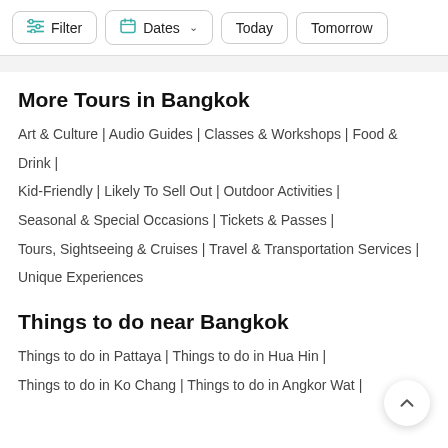Filter | Dates | Today | Tomorrow
More Tours in Bangkok
Art & Culture | Audio Guides | Classes & Workshops | Food & Drink | Kid-Friendly | Likely To Sell Out | Outdoor Activities | Seasonal & Special Occasions | Tickets & Passes | Tours, Sightseeing & Cruises | Travel & Transportation Services | Unique Experiences
Things to do near Bangkok
Things to do in Pattaya | Things to do in Hua Hin | Things to do in Ko Chang | Things to do in Angkor Wat |